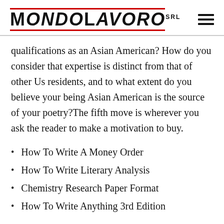MONDOLAVORO srl
qualifications as an Asian American? How do you consider that expertise is distinct from that of other Us residents, and to what extent do you believe your being Asian American is the source of your poetry?The fifth move is wherever you ask the reader to make a motivation to buy.
How To Write A Money Order
How To Write Literary Analysis
Chemistry Research Paper Format
How To Write Anything 3rd Edition